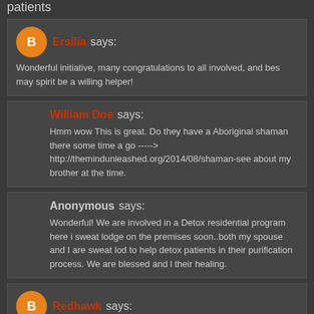patients
Ersilia says: Wonderful initiative, many congratulations to all involved, and bes may spirit be a willing helper!
William Doe says: Hmm wow This is great. Do they have a Aboriginal shaman there some time a go -----> http://themindunleashed.org/2014/08/shaman-see about my brother at the time.
Anonymous says: Wonderful! We are involved in a Detox residential program here i sweat lodge on the premises soon..both my spouse and I are sweat lod to help detox patients in their purification process. We are blessed and l their healing.
Redhawk says: